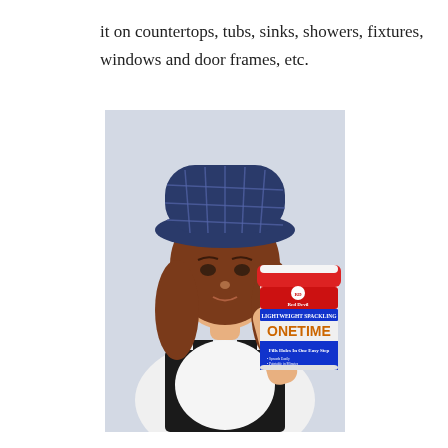it on countertops, tubs, sinks, showers, fixtures, windows and door frames, etc.
[Figure (photo): A young Asian woman wearing a blue plaid bucket hat holds up a container of Red Devil ONETIME Lightweight Spackling product. She is smiling at the camera against a light background, wearing a white top with a black apron/overall strap.]